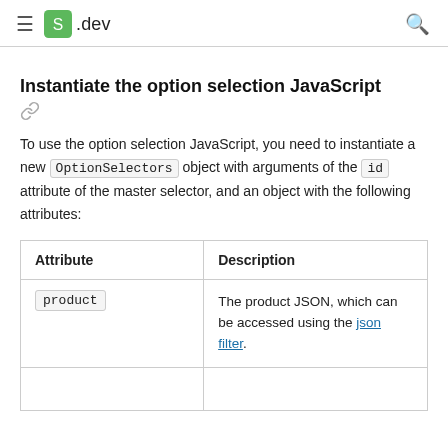≡  .dev  🔍
Instantiate the option selection JavaScript
To use the option selection JavaScript, you need to instantiate a new OptionSelectors object with arguments of the id attribute of the master selector, and an object with the following attributes:
| Attribute | Description |
| --- | --- |
| product | The product JSON, which can be accessed using the json filter. |